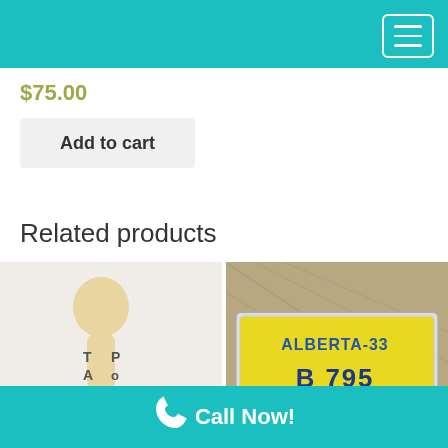$75.00
Add to cart
Related products
[Figure (photo): Wooden toy figure with letters T, O, P, A visible on light background]
[Figure (photo): Alberta-33 yellow license plate on wooden floor background, showing letters B and 795]
Call Now!